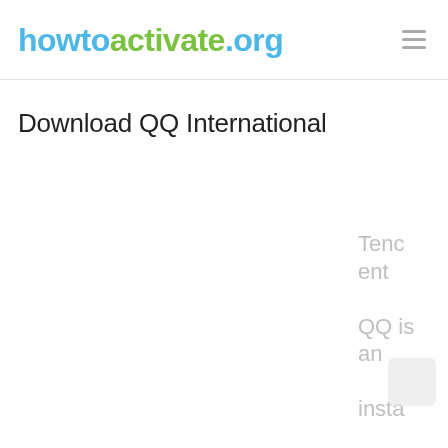howtoactivate.org
Download QQ International
Tencent QQ is an instant intern